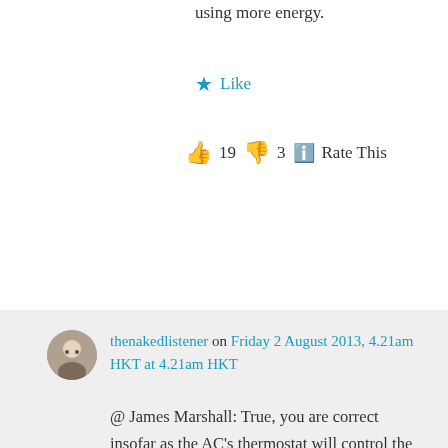using more energy.
★ Like
👍 19 👎 3 ℹ Rate This
thenakedlistener on Friday 2 August 2013, 4.21am HKT at 4.21am HKT
@ James Marshall: True, you are correct insofar as the AC's thermostat will control the output of the coldest air until the ambient air reaches the set temperature. Broadly speaking, the AC will still continue to run beyond reaching that point.
From a strictly physics point of view, even a